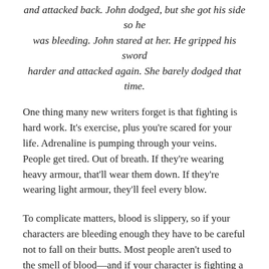and attacked back. John dodged, but she got his side so he was bleeding. John stared at her. He gripped his sword harder and attacked again. She barely dodged that time.
One thing many new writers forget is that fighting is hard work. It's exercise, plus you're scared for your life. Adrenaline is pumping through your veins. People get tired. Out of breath. If they're wearing heavy armour, that'll wear them down. If they're wearing light armour, they'll feel every blow.
To complicate matters, blood is slippery, so if your characters are bleeding enough they have to be careful not to fall on their butts. Most people aren't used to the smell of blood—and if your character is fighting a war, he can't escape the smells of death either: blood, shit, and urine.